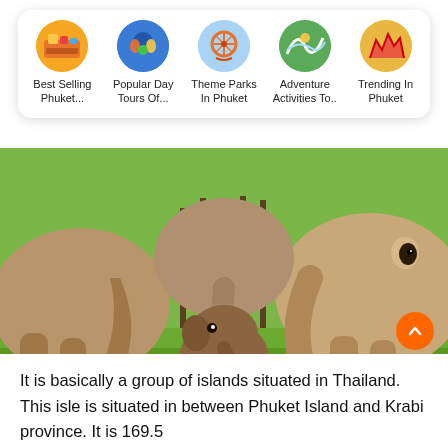[Figure (screenshot): Navigation card with five circular thumbnail icons and labels: Best Selling Phuket..., Popular Day Tours Of..., Theme Parks In Phuket, Adventure Activities To.., Trending In Phuket]
[Figure (photo): Photograph of adult elephants surrounding a baby elephant standing on green grass, taken in what appears to be a Thai elephant sanctuary]
It is basically a group of islands situated in Thailand. This isle is situated in between Phuket Island and Krabi province. It is 169.5